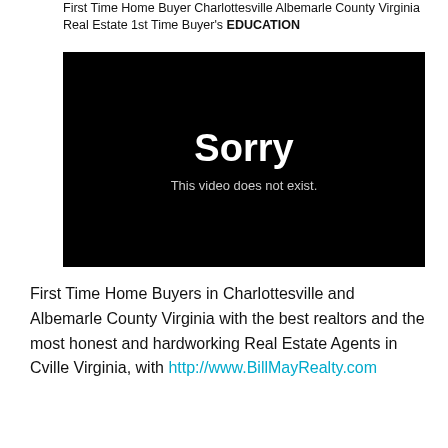First Time Home Buyer Charlottesville Albemarle County Virginia Real Estate 1st Time Buyer's EDUCATION
[Figure (screenshot): Black video player placeholder showing 'Sorry — This video does not exist.']
First Time Home Buyers in Charlottesville and Albemarle County Virginia with the best realtors and the most honest and hardworking Real Estate Agents in Cville Virginia, with http://www.BillMayRealty.com